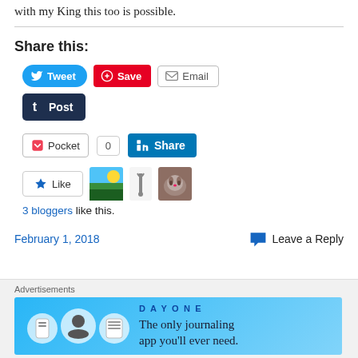with my King this too is possible.
Share this:
[Figure (screenshot): Social share buttons: Tweet (Twitter/blue), Save (Pinterest/red), Email (grey outline), Post (Tumblr/dark navy)]
[Figure (screenshot): Pocket save button with count 0 and LinkedIn Share button]
[Figure (screenshot): Like button with 3 blogger avatars shown]
3 bloggers like this.
February 1, 2018
Leave a Reply
Advertisements
[Figure (screenshot): Day One journaling app advertisement banner: The only journaling app you'll ever need.]